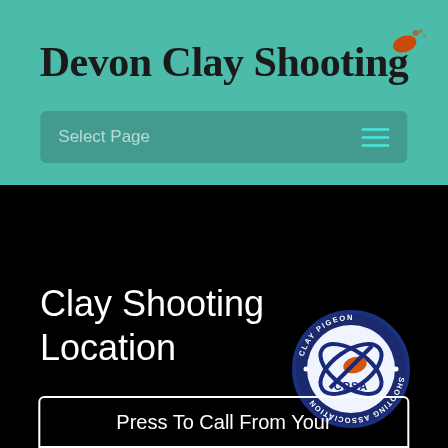Devon Clay Shooting
Select Page
Clay Shooting Location
[Figure (logo): CPSA Clay Pigeon Shooting Association circular logo with orange clay and dark blue orbital rings, text reading CLAY PIGEON SHOOTING ASSOCIATION and CPSA]
Press To Call From Your